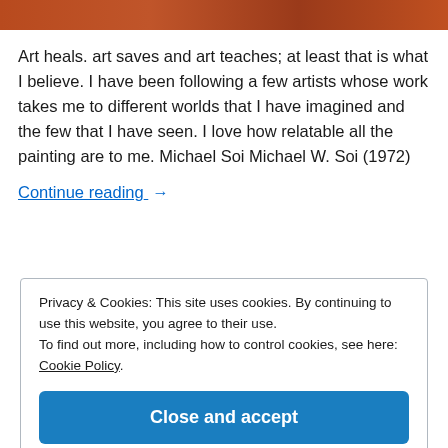[Figure (photo): Partial view of a colorful painting or artwork at the top of the page, showing warm red and orange tones.]
Art heals. art saves and art teaches; at least that is what I believe. I have been following a few artists whose work takes me to different worlds that I have imagined and the few that I have seen. I love how relatable all the painting are to me. Michael Soi Michael W. Soi (1972)
Continue reading  →
Privacy & Cookies: This site uses cookies. By continuing to use this website, you agree to their use.
To find out more, including how to control cookies, see here: Cookie Policy
Close and accept